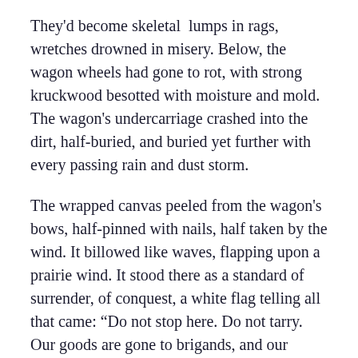They'd become skeletal lumps in rags, wretches drowned in misery. Below, the wagon wheels had gone to rot, with strong kruckwood besotted with moisture and mold. The wagon's undercarriage crashed into the dirt, half-buried, and buried yet further with every passing rain and dust storm.
The wrapped canvas peeled from the wagon's bows, half-pinned with nails, half taken by the wind. It billowed like waves, flapping upon a prairie wind. It stood there as a standard of surrender, of conquest, a white flag telling all that came: “Do not stop here. Do not tarry. Our goods are gone to brigands, and our hearts are gone to the soil.”
A queer fascination struck the traveller, and he wrapped one hand around the canvas’ edge, capturing it from the wind. As he pulled it taut, he